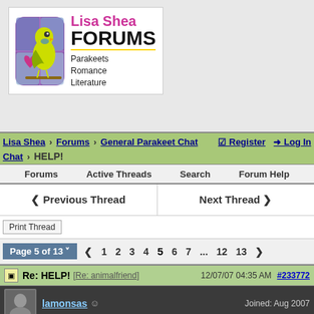[Figure (logo): Lisa Shea Forums logo with parakeet illustration. Text: Lisa Shea FORUMS, Parakeets Romance Literature]
Lisa Shea > Forums > General Parakeet Chat > HELP! | Register | Log In
Forums  Active Threads  Search  Forum Help
Previous Thread   Next Thread
Print Thread
Page 5 of 13  < 1 2 3 4 5 6 7 ... 12 13 >
Re: HELP! [Re: animalfriend]   12/07/07 04:35 AM   #233772
lamonsas   Joined: Aug 2007